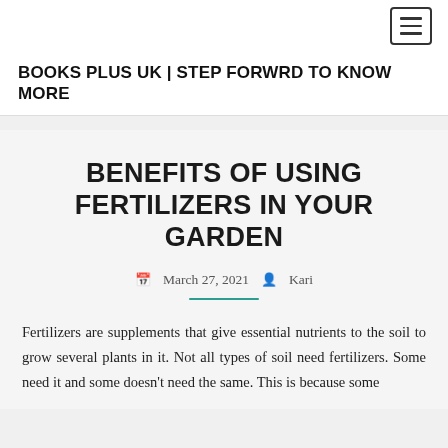BOOKS PLUS UK | STEP FORWRD TO KNOW MORE
BENEFITS OF USING FERTILIZERS IN YOUR GARDEN
March 27, 2021  Kari
Fertilizers are supplements that give essential nutrients to the soil to grow several plants in it. Not all types of soil need fertilizers. Some need it and some doesn't need the same. This is because some